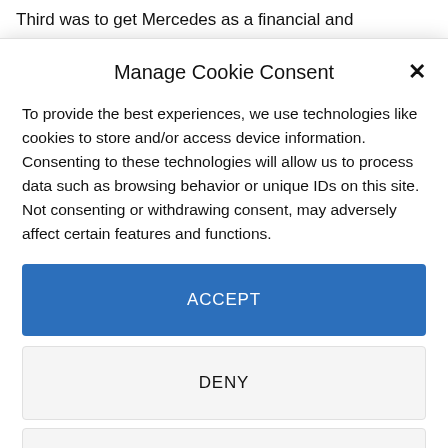Third was to get Mercedes as a financial and
Manage Cookie Consent
To provide the best experiences, we use technologies like cookies to store and/or access device information. Consenting to these technologies will allow us to process data such as browsing behavior or unique IDs on this site. Not consenting or withdrawing consent, may adversely affect certain features and functions.
ACCEPT
DENY
VIEW PREFERENCES